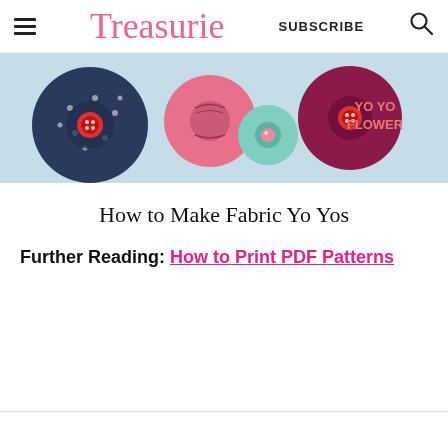Treasurie  SUBSCRIBE
[Figure (photo): Fabric yo-yo flowers in various colors (navy blue with red button, pink, teal with pink bead, dark magenta with red button) on a light blue background, with text 'YO YO FLOWER' visible on the right side]
How to Make Fabric Yo Yos
Further Reading: How to Print PDF Patterns